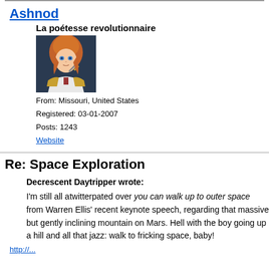Ashnod
La poétesse revolutionnaire
[Figure (photo): Anime character with orange hair wearing a white military uniform, holding a sword, dark background]
From: Missouri, United States
Registered: 03-01-2007
Posts: 1243
Website
Re: Space Exploration
Decrescent Daytripper wrote:
I'm still all atwitterpated over you can walk up to outer space from Warren Ellis' recent keynote speech, regarding that massive but gently inclining mountain on Mars. Hell with the boy going up a hill and all that jazz: walk to fricking space, baby!
http://...